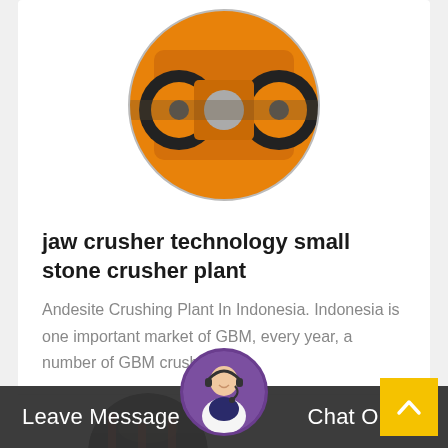[Figure (photo): Circular cropped photo of orange industrial jaw crusher machinery with black rubber components]
jaw crusher technology small stone crusher plant
Andesite Crushing Plant In Indonesia. Indonesia is one important market of GBM, every year, a number of GBM crushing...
Read More →
[Figure (photo): Circular cropped photo of industrial equipment/warehouse interior with red structures]
[Figure (photo): Circular photo of customer service agent with headset, framed in purple border]
Leave Message
Chat Online